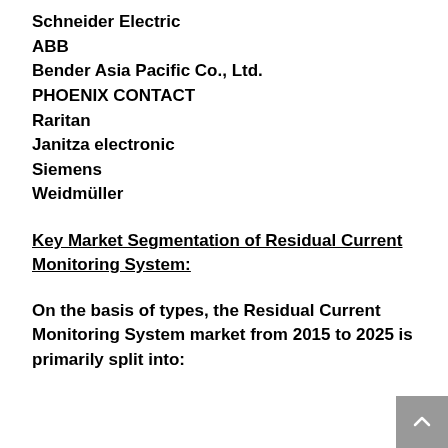Schneider Electric
ABB
Bender Asia Pacific Co., Ltd.
PHOENIX CONTACT
Raritan
Janitza electronic
Siemens
Weidmüller
Key Market Segmentation of Residual Current Monitoring System:
On the basis of types, the Residual Current Monitoring System market from 2015 to 2025 is primarily split into: